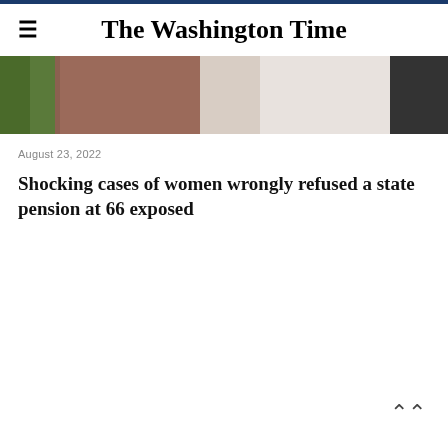The Washington Time
[Figure (photo): Partial photo of a person in white clothing near a wooden surface, outdoor setting visible]
August 23, 2022
Shocking cases of women wrongly refused a state pension at 66 exposed